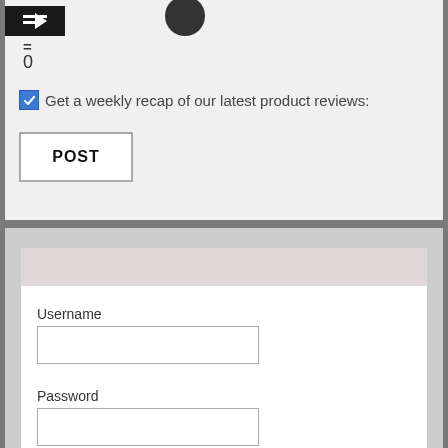[Figure (screenshot): Black icon bar and circular profile icon at top]
=
0
Get a weekly recap of our latest product reviews:
POST
[Figure (screenshot): Login form with Username and Password fields and Remember Me checkbox]
Username
Password
Remember Me